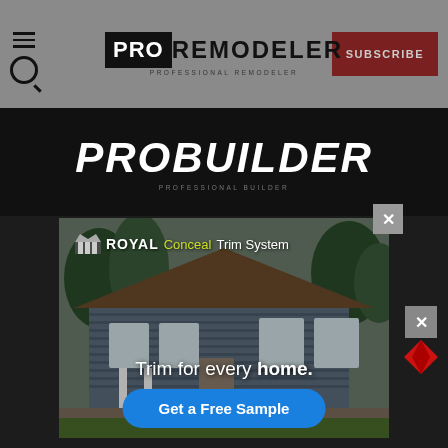PRO REMODELER | SUBSCRIBE
[Figure (logo): PRO REMODELER logo with black PRO box and bold REMODELER text, PROFESSIONAL REMODELER subtitle]
[Figure (logo): PROBUILDER logo in large bold italic white text on black background, PROFESSIONAL BUILDER subtitle]
[Figure (photo): Royal Conceal Trim System advertisement popup showing a craftsman-style house with gray/blue siding, featuring the text 'Trim for every home.' and a blue 'Get a Free Sample' button with X close button]
Be sure to explore content